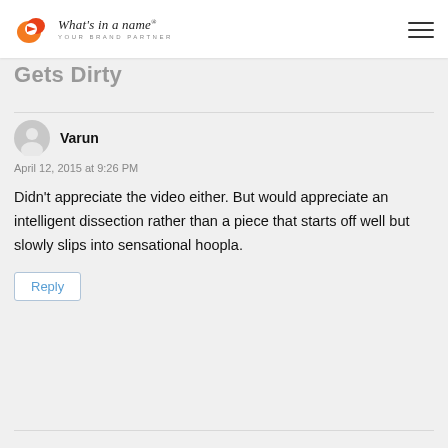What's in a name® YOUR BRAND PARTNER
Gets Dirty
Varun
April 12, 2015 at 9:26 PM
Didn't appreciate the video either. But would appreciate an intelligent dissection rather than a piece that starts off well but slowly slips into sensational hoopla.
Reply